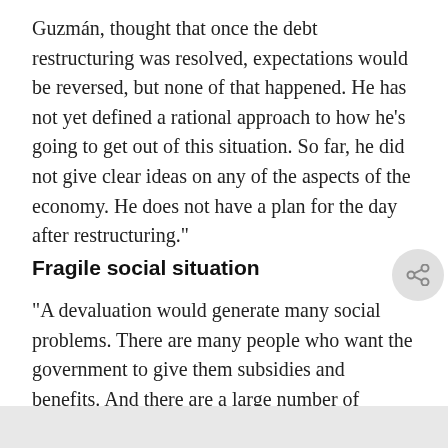Guzmán, thought that once the debt restructuring was resolved, expectations would be reversed, but none of that happened. He has not yet defined a rational approach to how he’s going to get out of this situation. So far, he did not give clear ideas on any of the aspects of the economy. He does not have a plan for the day after restructuring.”
Fragile social situation
“A devaluation would generate many social problems. There are many people who want the government to give them subsidies and benefits. And there are a large number of unemployed workers. The social situation can become very t…”